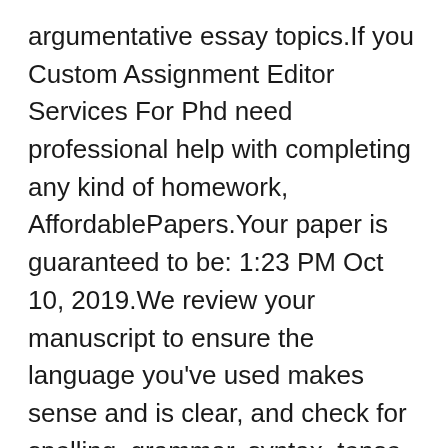argumentative essay topics.If you Custom Assignment Editor Services For Phd need professional help with completing any kind of homework, AffordablePapers.Your paper is guaranteed to be: 1:23 PM Oct 10, 2019.We review your manuscript to ensure the language you've used makes sense and is clear, and check for spelling, grammar, syntax, tense, and sentence structure We are able to not only craft a paper for you from scratch but also Best Assignment Editor Sites For Phd to help you with the existing one.Whether you are looking for essay, coursework, research, or term paper help, or with any other assignments, it is no problem for us.Top critical essay proofreading site online write my...